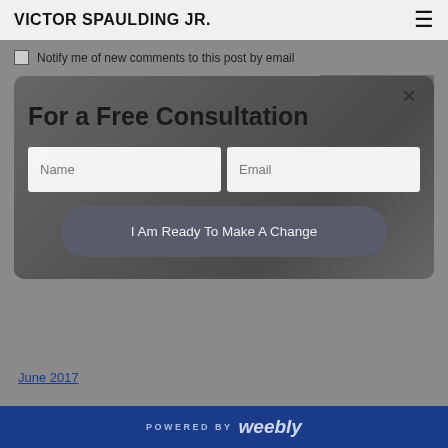VICTOR SPAULDING JR.
Notify me of new comments to this post by email
SUBMIT
[Figure (screenshot): Popup modal overlay on a fitness website with background image of person exercising, containing title 'For a Free Consultation', Name and Email input fields, and a CTA button 'I Am Ready To Make A Change' with a close X button]
June 2017
POWERED BY weebly